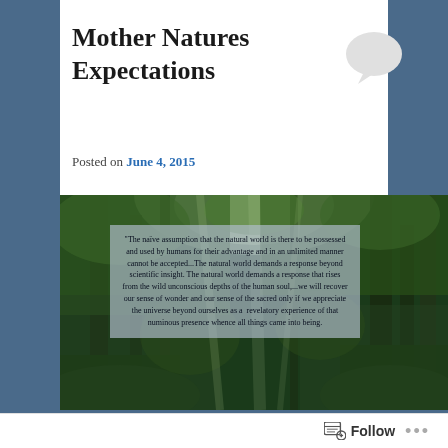Mother Natures Expectations
Posted on June 4, 2015
[Figure (photo): Lush green forest/jungle scene with tall trees and dense foliage, overlaid with a semi-transparent text box containing a quote about nature and the human soul.]
Follow ...